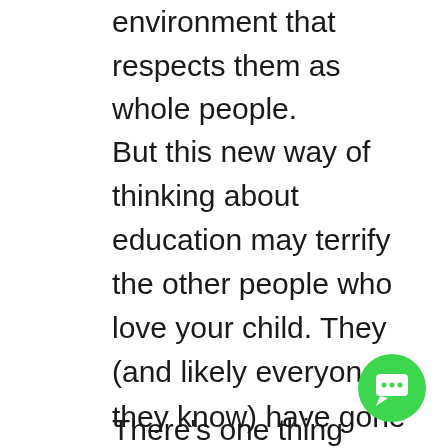environment that respects them as whole people.
But this new way of thinking about education may terrify the other people who love your child. They (and likely everyone they know) have gone through a particular educational system. Some may have gone to private school, and some may have gone to public school, and maybe a few were homeschooled. As for kids doing what they wish to do all day? Your family members likely know no one who has followed this path to its completion. So it makes sense that they are scared, right?
There’s one thing that’s important to
[Figure (other): Green circular chat button with speech bubble icon in bottom right corner]